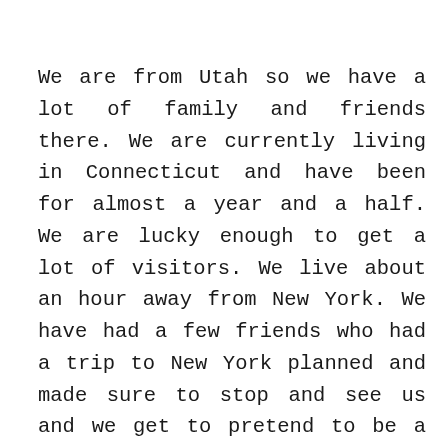We are from Utah so we have a lot of family and friends there. We are currently living in Connecticut and have been for almost a year and a half. We are lucky enough to get a lot of visitors. We live about an hour away from New York. We have had a few friends who had a trip to New York planned and made sure to stop and see us and we get to pretend to be a little Bed and Breakfast. That is honestly my dream, to own a Bed and Breakfast. The last time we had visitors was in February and there were six of them, and only one was a child making that ten people in our little 1200 square foot cape. But surprisingly everyone had a bed and there was plenty of